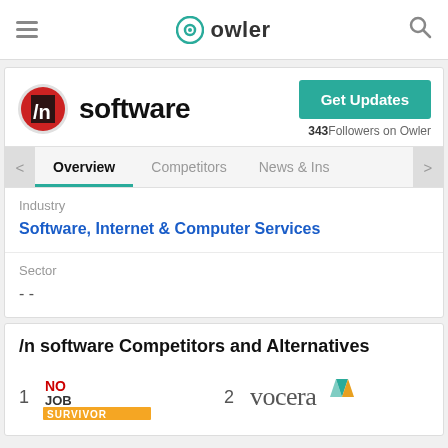owler
[Figure (logo): /n software company logo - red and black circular icon]
software
Get Updates
343 Followers on Owler
Overview  Competitors  News & Ins
Industry
Software, Internet & Computer Services
Sector
- -
/n software Competitors and Alternatives
[Figure (logo): NoJobSurvivor logo - competitor #1]
[Figure (logo): Vocera logo - competitor #2]